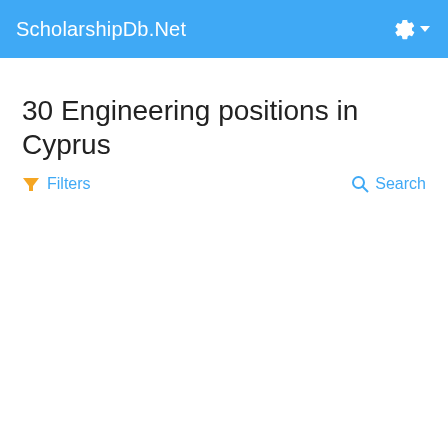ScholarshipDb.Net
30 Engineering positions in Cyprus
Filters
Search